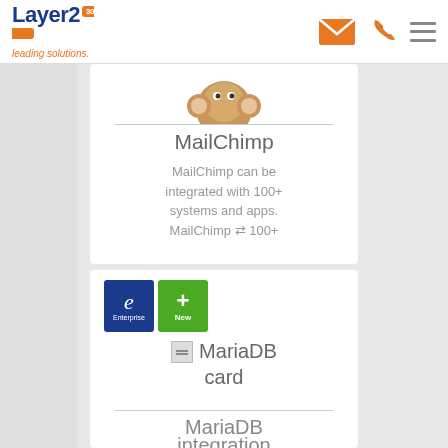Layer2 leading solutions. | Email icon | Phone icon | Menu icon
[Figure (logo): MailChimp logo (partial, monkey face visible at top of card)]
MailChimp
MailChimp can be integrated with 100+ systems and apps. MailChimp ⇄ 100+
[Figure (screenshot): MariaDB card with Enterprise badge (dark blue with 'e') and New badge (green with '+'), plus MariaDB icon and 'MariaDB card' text]
MariaDB integration